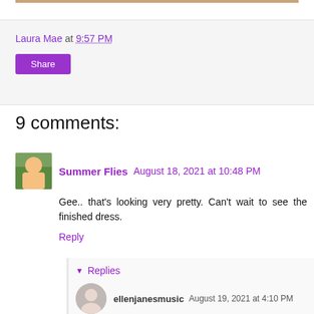[Figure (photo): Partial top strip of an image at the top of the page]
Laura Mae at 9:57 PM
Share
9 comments:
[Figure (photo): Avatar photo of Summer Flies commenter]
Summer Flies  August 18, 2021 at 10:48 PM
Gee.. that's looking very pretty. Can't wait to see the finished dress.
Reply
▼ Replies
[Figure (photo): Avatar photo of ellenjanesmusic commenter]
ellenjanesmusic  August 19, 2021 at 4:10 PM
Look on Laura's Instagram link☺